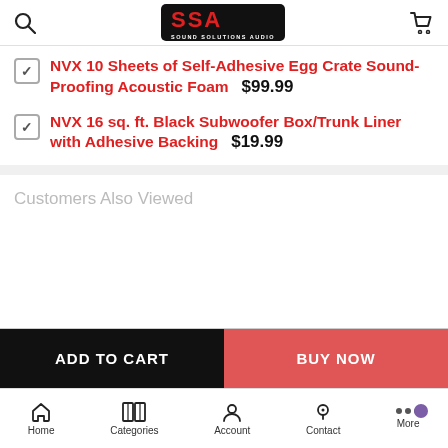[Figure (logo): Sound Solutions Audio (SSA) logo in red on black background with subtitle 'SOUND SOLUTIONS AUDIO']
NVX 10 Sheets of Self-Adhesive Egg Crate Sound-Proofing Acoustic Foam  $99.99
NVX 16 sq. ft. Black Subwoofer Box/Trunk Liner with Adhesive Backing  $19.99
Customers Also Viewed
ADD TO CART
BUY NOW
Home  Categories  Account  Contact  More